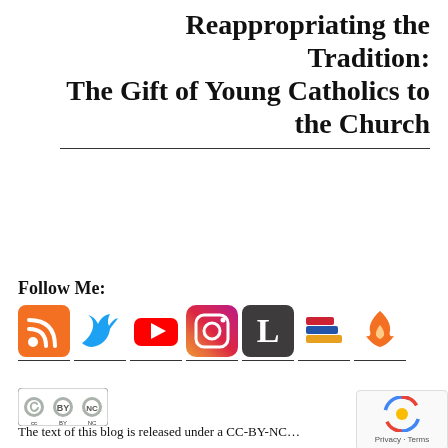Reappropriating the Tradition: The Gift of Young Catholics to the Church
Follow Me:
[Figure (infographic): Row of social media icons: RSS (orange), Twitter (blue bird), YouTube (red play button), Instagram (gradient camera), Letterboxd (dark brown L), Goodreads (stacked books), and a flame/Linktree icon (orange). Each icon has an underline beneath it.]
[Figure (logo): Creative Commons CC BY-NC license badge]
The text of this blog is released under a CC-BY-NC...